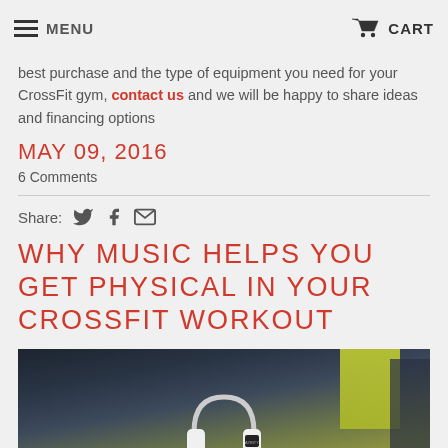MENU   CART
best purchase and the type of equipment you need for your CrossFit gym, contact us and we will be happy to share ideas and financing options
MAY 09, 2016
6 Comments
Share:
WHY MUSIC HELPS YOU GET PHYSICAL IN YOUR CROSSFIT WORKOUT
[Figure (photo): A person wearing white headphones with 'AYBITY' text, blurred background with a person in a yellow vest]